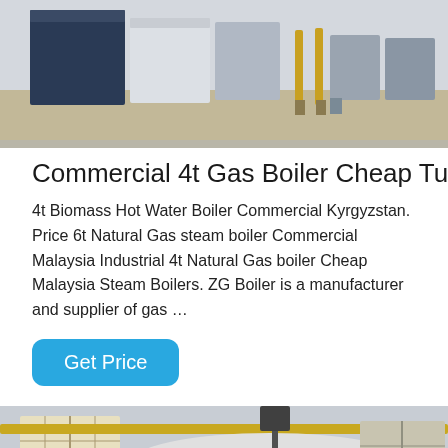[Figure (photo): Industrial boilers in a warehouse/factory setting, showing large rectangular boiler units lined up on a concrete floor.]
Commercial 4t Gas Boiler Cheap Turkmenistan
4t Biomass Hot Water Boiler Commercial Kyrgyzstan. Price 6t Natural Gas steam boiler Commercial Malaysia Industrial 4t Natural Gas boiler Cheap Malaysia Steam Boilers. ZG Boiler is a manufacturer and supplier of gas …
Get Price
[Figure (photo): Large cylindrical industrial boiler with Chinese manufacturer branding (方快锅炉), inside an industrial facility with windows, pipes, and structural elements visible.]